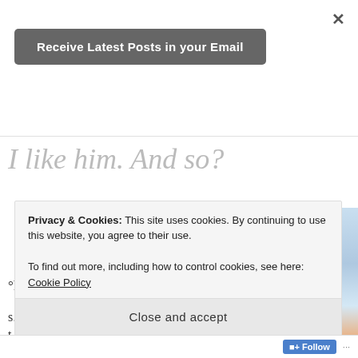×
Receive Latest Posts in your Email
I like him. And so?
[Figure (photo): Couple silhouette sitting against a blue sky background with inspirational quote text: 'A Man Who Treats His Wife Like a Princess, as Proof That He was Born & Raised In the arms Of a Queen!']
°heh heh...
s...
t
l
Privacy & Cookies: This site uses cookies. By continuing to use this website, you agree to their use.
To find out more, including how to control cookies, see here: Cookie Policy
Close and accept